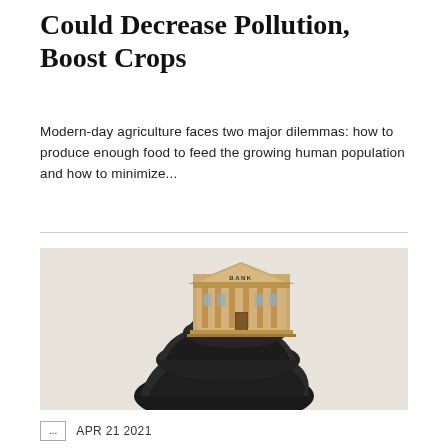Could Decrease Pollution, Boost Crops
Modern-day agriculture faces two major dilemmas: how to produce enough food to feed the growing human population and how to minimize...
[Figure (illustration): A surreal composite image showing a classical bank building (labeled 'BANK') sitting atop stacked dark coal or rock formations, against a light textured background.]
APR 21 2021